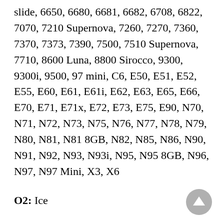slide, 6650, 6680, 6681, 6682, 6708, 6822, 7070, 7210 Supernova, 7260, 7270, 7360, 7370, 7373, 7390, 7500, 7510 Supernova, 7710, 8600 Luna, 8800 Sirocco, 9300, 9300i, 9500, 97 mini, C6, E50, E51, E52, E55, E60, E61, E61i, E62, E63, E65, E66, E70, E71, E71x, E72, E73, E75, E90, N70, N71, N72, N73, N75, N76, N77, N78, N79, N80, N81, N81 8GB, N82, N85, N86, N90, N91, N92, N93, N93i, N95, N95 8GB, N96, N97, N97 Mini, X3, X6
O2: Ice
ONIDA: G720
Orange: SPV, SPV C100, SPV C500, SPV C550, SPV C600, SPV C700, SPV e100, SPV E200